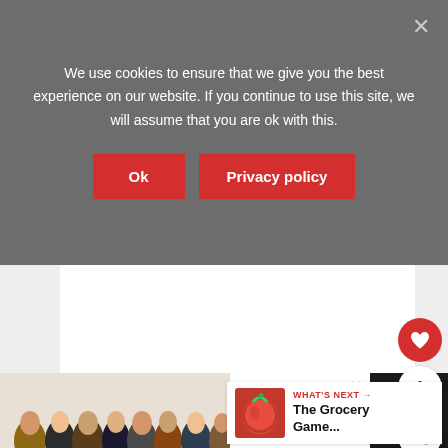We use cookies to ensure that we give you the best experience on our website. If you continue to use this site, we will assume that you are ok with this.
[Figure (screenshot): Cookie consent overlay with Ok and Privacy policy buttons on a grey background, with a close X button.]
[Figure (screenshot): Main content area showing a white content block on a light grey background with a red heart button (like), count of 1, and a share button on the right sidebar. A 'WHAT'S NEXT' card shows tomato image and 'The Grocery Game...' text.]
[Figure (screenshot): Bottom advertisement bar on dark background showing people photo with 'We Stand Together' text and W2 logo.]